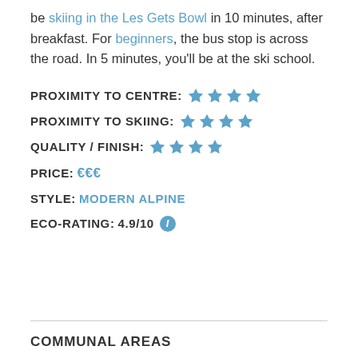be skiing in the Les Gets Bowl in 10 minutes, after breakfast. For beginners, the bus stop is across the road. In 5 minutes, you'll be at the ski school.
PROXIMITY TO CENTRE: ★★★★
PROXIMITY TO SKIING: ★★★★
QUALITY / FINISH: ★★★★
PRICE: €€€
STYLE: MODERN ALPINE
ECO-RATING: 4.9/10
COMMUNAL AREAS